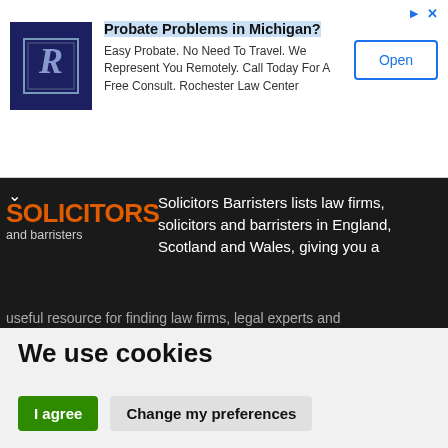[Figure (screenshot): Advertisement banner for Rochester Law Center with logo, headline 'Probate Problems in Michigan?', body text, and Open button]
[Figure (screenshot): Dark bar showing Solicitors and barristers website header with orange SOLICITORS text and description of site]
We use cookies
We use cookies and other tracking technologies to improve your browsing experience on our website, to show you personalized content and targeted ads, to analyze our website traffic, and to understand where our visitors are coming from.
I agree | Change my preferences